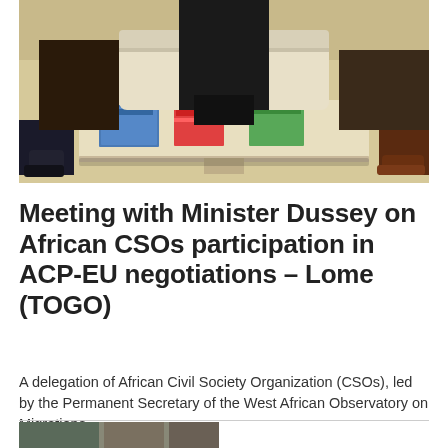[Figure (photo): A meeting scene showing people seated around a low coffee table with documents/magazines on it, in what appears to be an office or lounge setting. Shoes and lower legs of attendees are visible.]
Meeting with Minister Dussey on African CSOs participation in ACP-EU negotiations – Lome (TOGO)
A delegation of African Civil Society Organization (CSOs), led by the Permanent Secretary of the West African Observatory on Migrations,...
[Figure (photo): Partial view of another photo at the bottom of the page.]